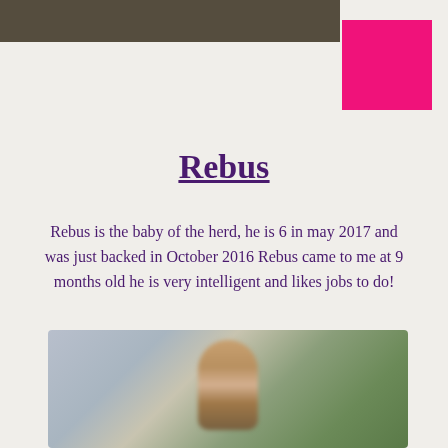Rebus
Rebus is the baby of the herd, he is 6 in may 2017 and was just backed in October 2016 Rebus came to me at 9 months old he is very intelligent and likes jobs to do!
[Figure (photo): A blurred outdoor photograph of a horse with a blurred green tree background and grey sky]